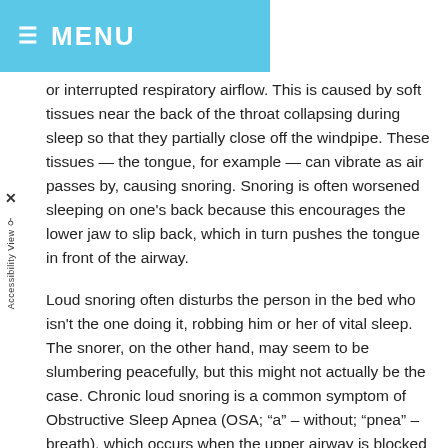MENU
or interrupted respiratory airflow. This is caused by soft tissues near the back of the throat collapsing during sleep so that they partially close off the windpipe. These tissues — the tongue, for example — can vibrate as air passes by, causing snoring. Snoring is often worsened sleeping on one's back because this encourages the lower jaw to slip back, which in turn pushes the tongue in front of the airway.
Loud snoring often disturbs the person in the bed who isn't the one doing it, robbing him or her of vital sleep. The snorer, on the other hand, may seem to be slumbering peacefully, but this might not actually be the case. Chronic loud snoring is a common symptom of Obstructive Sleep Apnea (OSA; “a” – without; “pnea” – breath), which occurs when the upper airway is blocked